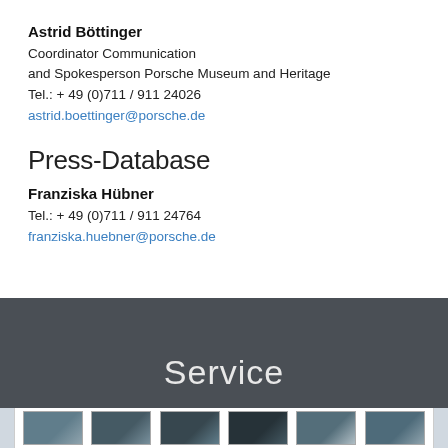Astrid Böttinger
Coordinator Communication
and Spokesperson Porsche Museum and Heritage
Tel.: + 49 (0)711 / 911 24026
astrid.boettinger@porsche.de
Press-Database
Franziska Hübner
Tel.: + 49 (0)711 / 911 24764
franziska.huebner@porsche.de
Service
[Figure (photo): Strip of Porsche brochure/magazine thumbnails on white background]